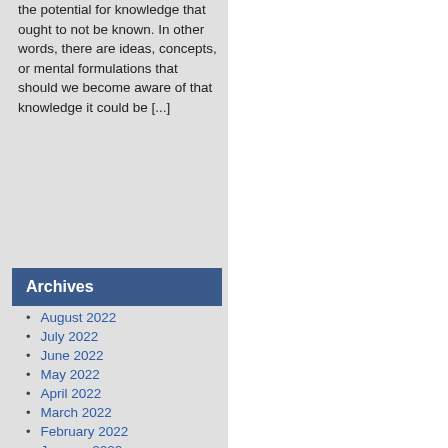the potential for knowledge that ought to not be known. In other words, there are ideas, concepts, or mental formulations that should we become aware of that knowledge it could be [...]
Archives
August 2022
July 2022
June 2022
May 2022
April 2022
March 2022
February 2022
January 2022
December 2021
November 2021